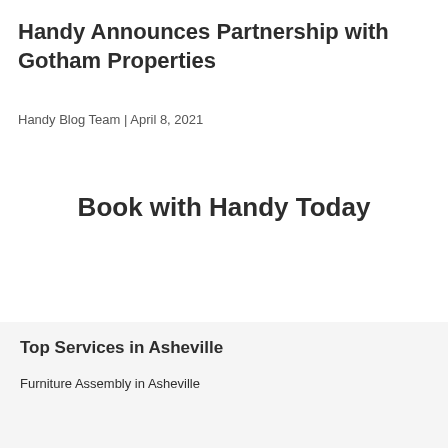Handy Announces Partnership with Gotham Properties
Handy Blog Team | April 8, 2021
Book with Handy Today
Top Services in Asheville
Furniture Assembly in Asheville